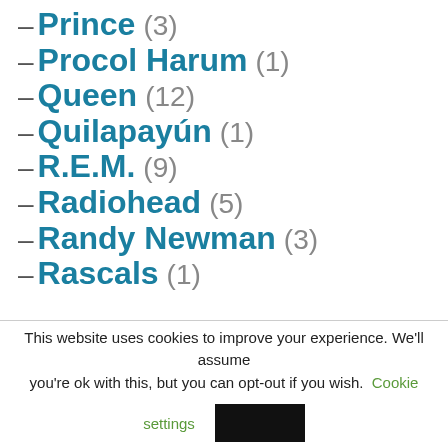– Prince (3)
– Procol Harum (1)
– Queen (12)
– Quilapayún (1)
– R.E.M. (9)
– Radiohead (5)
– Randy Newman (3)
– Rascals (1)
This website uses cookies to improve your experience. We'll assume you're ok with this, but you can opt-out if you wish. Cookie settings